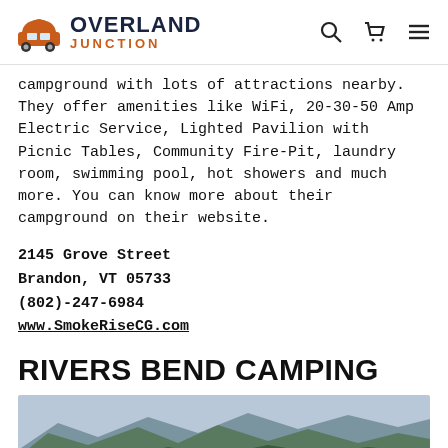OVERLAND JUNCTION
campground with lots of attractions nearby. They offer amenities like WiFi, 20-30-50 Amp Electric Service, Lighted Pavilion with Picnic Tables, Community Fire-Pit, laundry room, swimming pool, hot showers and much more. You can know more about their campground on their website.
2145 Grove Street
Brandon, VT 05733
(802)-247-6984
www.SmokeRiseCG.com
RIVERS BEND CAMPING
[Figure (photo): Landscape photo showing mountains and forest scenery, likely Vermont countryside]